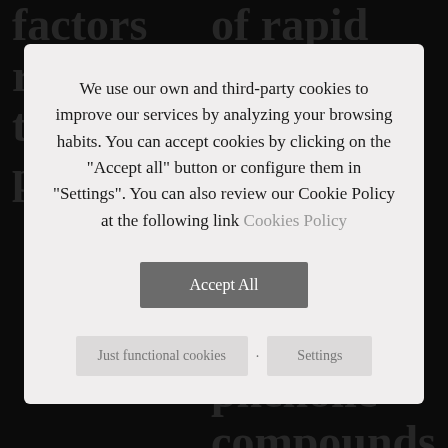factors related to soil, plant
of rapid extraction
climates
color and phenolic compounds
14 de September de 2021 | 0 Comments
We use our own and third-party cookies to improve our services by analyzing your browsing habits. You can accept cookies by clicking on the "Accept all" button or configure them in "Settings". You can also review our Cookie Policy at the following link Cookies Policy
Accept All
Just functional cookies
·
Settings